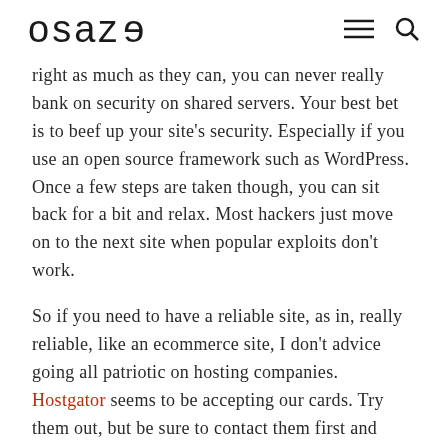osaze (logo) ☰ 🔍
right as much as they can, you can never really bank on security on shared servers. Your best bet is to beef up your site's security. Especially if you use an open source framework such as WordPress. Once a few steps are taken though, you can sit back for a bit and relax. Most hackers just move on to the next site when popular exploits don't work.
So if you need to have a reliable site, as in, really reliable, like an ecommerce site, I don't advice going all patriotic on hosting companies. Hostgator seems to be accepting our cards. Try them out, but be sure to contact them first and understand the requirements.